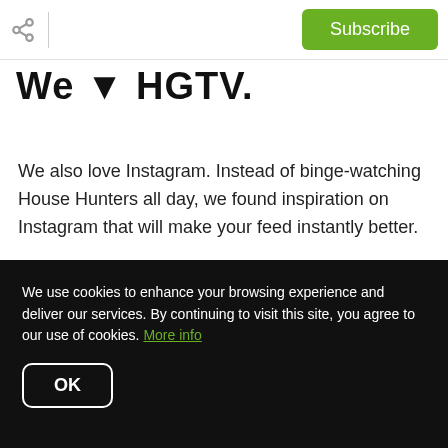Subscribe
We ♥ HGTV.
We also love Instagram. Instead of binge-watching House Hunters all day, we found inspiration on Instagram that will make your feed instantly better.
Below are 7 accounts we follow on Instagram that you should follow if you love HGTV.
We use cookies to enhance your browsing experience and deliver our services. By continuing to visit this site, you agree to our use of cookies. More info
OK